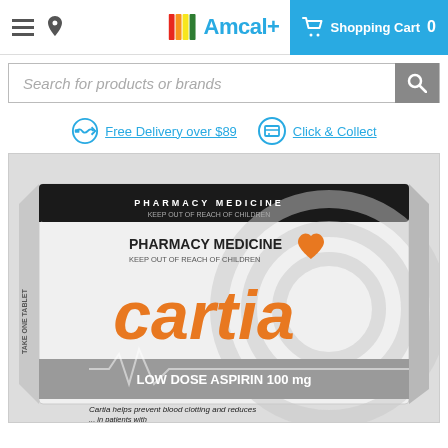Amcal+ — Shopping Cart 0
Search for products or brands
Free Delivery over $89   Click & Collect
[Figure (photo): Cartia Low Dose Aspirin 100mg pharmacy medicine product box — orange branding on white/grey box with heart logo. Text reads: PHARMACY MEDICINE, KEEP OUT OF REACH OF CHILDREN, cartia, LOW DOSE ASPIRIN 100 mg, Cartia helps prevent blood clotting and reduces...]